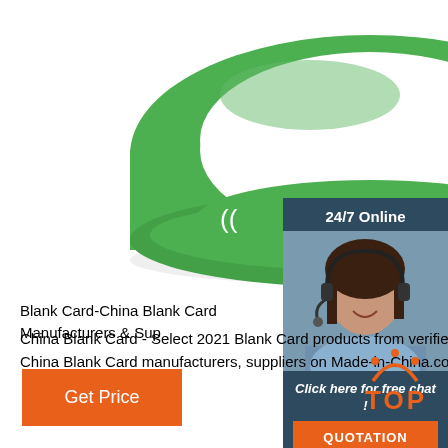[Figure (photo): Green RFID silicone wristband with white RFID logo text and radio wave symbols on it, shown on white background]
[Figure (infographic): 24/7 Online chat widget showing a female customer service agent wearing a headset, with 'Click here for free chat!' text in italic and an orange QUOTATION button below]
Blank Card-China Blank Card Manufacturers & Sup
China Blank Card - Select 2021 Blank Card products from verified China Blank Card manufacturers, suppliers on Made-in-China.com.
[Figure (infographic): Orange TOP scroll-to-top button with dot arc above the letters TOP]
Get Price